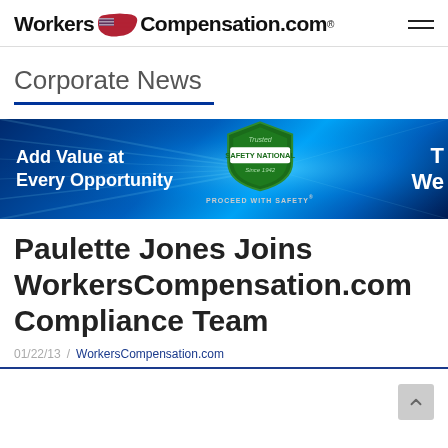[Figure (logo): WorkersCompensation.com logo with USA map graphic and hamburger menu icon on the right]
Corporate News
[Figure (infographic): Safety National banner ad: 'Add Value at Every Opportunity' with Safety National shield logo and 'PROCEED WITH SAFETY' tagline on a blue radial background]
Paulette Jones Joins WorkersCompensation.com Compliance Team
01/22/13 / WorkersCompensation.com